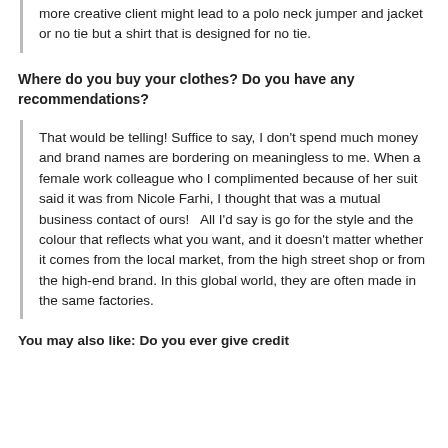more creative client might lead to a polo neck jumper and jacket or no tie but a shirt that is designed for no tie.
Where do you buy your clothes? Do you have any recommendations?
That would be telling! Suffice to say, I don't spend much money and brand names are bordering on meaningless to me. When a female work colleague who I complimented because of her suit said it was from Nicole Farhi, I thought that was a mutual business contact of ours!   All I'd say is go for the style and the colour that reflects what you want, and it doesn't matter whether it comes from the local market, from the high street shop or from the high-end brand. In this global world, they are often made in the same factories.
You may also like: Do you ever give credit...